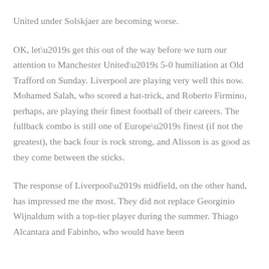United under Solskjaer are becoming worse.
OK, let’s get this out of the way before we turn our attention to Manchester United’s 5-0 humiliation at Old Trafford on Sunday. Liverpool are playing very well this now. Mohamed Salah, who scored a hat-trick, and Roberto Firmino, perhaps, are playing their finest football of their careers. The fullback combo is still one of Europe’s finest (if not the greatest), the back four is rock strong, and Alisson is as good as they come between the sticks.
The response of Liverpool’s midfield, on the other hand, has impressed me the most. They did not replace Georginio Wijnaldum with a top-tier player during the summer. Thiago Alcantara and Fabinho, who would have been